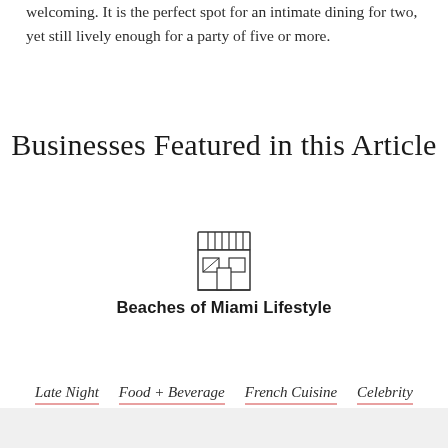welcoming. It is the perfect spot for an intimate dining for two, yet still lively enough for a party of five or more.
Businesses Featured in this Article
[Figure (illustration): Store/shop icon: a small storefront with an awning consisting of vertical stripes and two window panels below]
Beaches of Miami Lifestyle
Late Night
Food + Beverage
French Cuisine
Celebrity